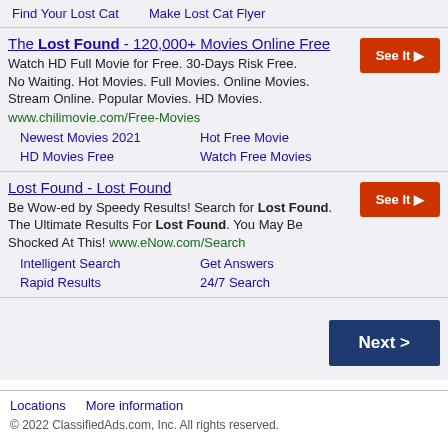Find Your Lost Cat    Make Lost Cat Flyer
The Lost Found - 120,000+ Movies Online Free
Watch HD Full Movie for Free. 30-Days Risk Free. No Waiting. Hot Movies. Full Movies. Online Movies. Stream Online. Popular Movies. HD Movies.
www.chilimovie.com/Free-Movies
Newest Movies 2021    Hot Free Movie    HD Movies Free    Watch Free Movies
Lost Found - Lost Found
Be Wow-ed by Speedy Results! Search for Lost Found. The Ultimate Results For Lost Found. You May Be Shocked At This! www.eNow.com/Search
Intelligent Search    Get Answers    Rapid Results    24/7 Search
Locations    More information
© 2022 ClassifiedAds.com, Inc. All rights reserved.